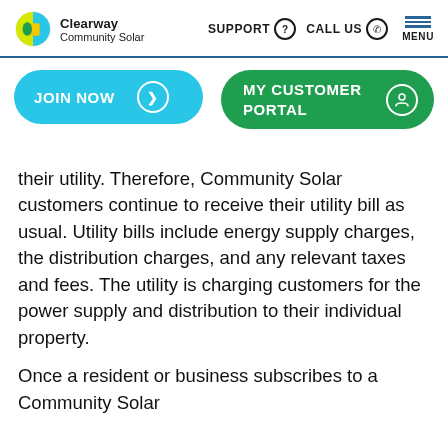Clearway Community Solar | SUPPORT | CALL US | MENU
[Figure (screenshot): Navigation bar with Clearway Community Solar logo, SUPPORT, CALL US links, and hamburger MENU button]
[Figure (screenshot): JOIN NOW button (blue pill) and MY CUSTOMER PORTAL button (green pill) navigation elements]
their utility. Therefore, Community Solar customers continue to receive their utility bill as usual. Utility bills include energy supply charges, the distribution charges, and any relevant taxes and fees. The utility is charging customers for the power supply and distribution to their individual property.
Once a resident or business subscribes to a Community Solar